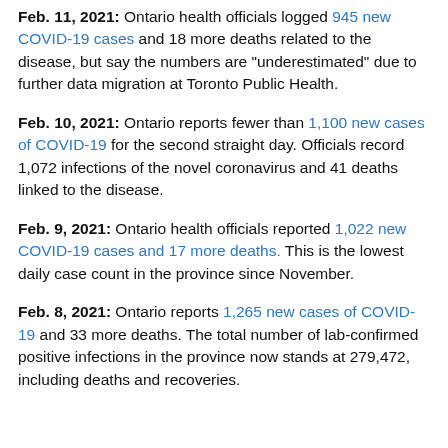Feb. 11, 2021: Ontario health officials logged 945 new COVID-19 cases and 18 more deaths related to the disease, but say the numbers are "underestimated" due to further data migration at Toronto Public Health.
Feb. 10, 2021: Ontario reports fewer than 1,100 new cases of COVID-19 for the second straight day. Officials record 1,072 infections of the novel coronavirus and 41 deaths linked to the disease.
Feb. 9, 2021: Ontario health officials reported 1,022 new COVID-19 cases and 17 more deaths. This is the lowest daily case count in the province since November.
Feb. 8, 2021: Ontario reports 1,265 new cases of COVID-19 and 33 more deaths. The total number of lab-confirmed positive infections in the province now stands at 279,472, including deaths and recoveries.